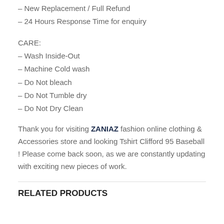– New Replacement / Full Refund
– 24 Hours Response Time for enquiry
CARE:
– Wash Inside-Out
– Machine Cold wash
– Do Not bleach
– Do Not Tumble dry
– Do Not Dry Clean
Thank you for visiting ZANIAZ fashion online clothing & Accessories store and looking Tshirt Clifford 95 Baseball ! Please come back soon, as we are constantly updating with exciting new pieces of work.
RELATED PRODUCTS